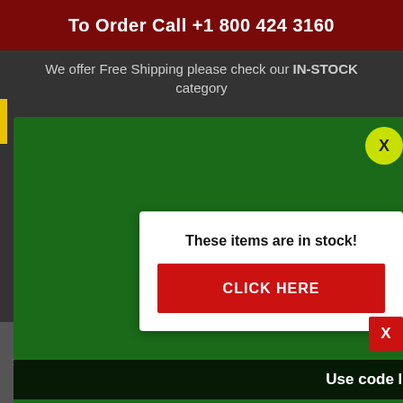To Order Call +1 800 424 3160
We offer Free Shipping please check our IN-STOCK category
[Figure (infographic): Summer Sale popup with tropical leaf background. Text: SPECIAL OFFER! Summer Sale. Use code lpa35off to save $35 Today only ! Shop Now button. Yellow X close button.]
[Figure (infographic): White popup overlay: These items are in stock! with red CLICK HERE button and red X close button.]
Home > > NEW IC... > RRZ125 G...